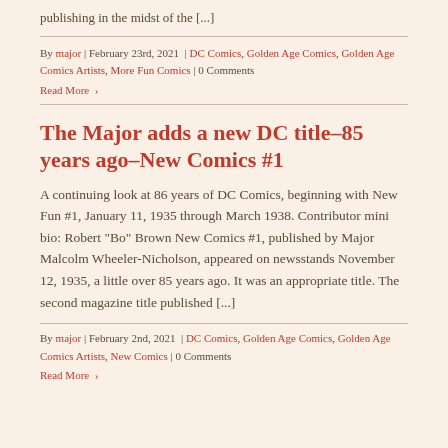publishing in the midst of the [...]
By major | February 23rd, 2021 | DC Comics, Golden Age Comics, Golden Age Comics Artists, More Fun Comics | 0 Comments
Read More ›
The Major adds a new DC title–85 years ago–New Comics #1
A continuing look at 86 years of DC Comics, beginning with New Fun #1, January 11, 1935 through March 1938. Contributor mini bio: Robert "Bo" Brown New Comics #1, published by Major Malcolm Wheeler-Nicholson, appeared on newsstands November 12, 1935, a little over 85 years ago. It was an appropriate title. The second magazine title published [...]
By major | February 2nd, 2021 | DC Comics, Golden Age Comics, Golden Age Comics Artists, New Comics | 0 Comments
Read More ›